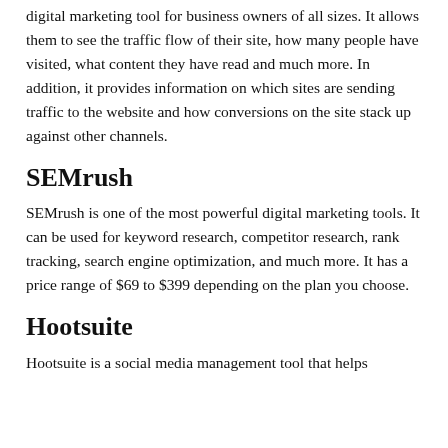digital marketing tool for business owners of all sizes. It allows them to see the traffic flow of their site, how many people have visited, what content they have read and much more. In addition, it provides information on which sites are sending traffic to the website and how conversions on the site stack up against other channels.
SEMrush
SEMrush is one of the most powerful digital marketing tools. It can be used for keyword research, competitor research, rank tracking, search engine optimization, and much more. It has a price range of $69 to $399 depending on the plan you choose.
Hootsuite
Hootsuite is a social media management tool that helps